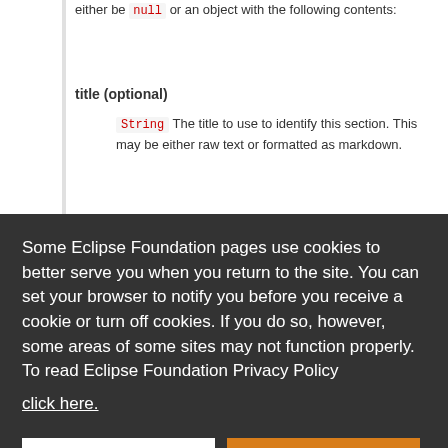either be null or an object with the following contents:
title (optional)
String  The title to use to identify this section. This may be either raw text or formatted as markdown.
Some Eclipse Foundation pages use cookies to better serve you when you return to the site. You can set your browser to notify you before you receive a cookie or turn off cookies. If you do so, however, some areas of some sites may not function properly. To read Eclipse Foundation Privacy Policy
click here.
Decline
Allow cookies
offset range associated with the returned hover